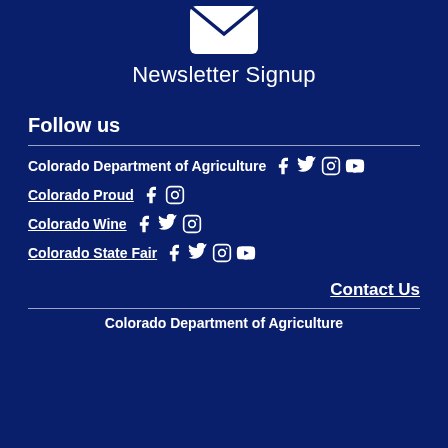[Figure (illustration): White envelope icon on dark navy background]
Newsletter Signup
Follow us
Colorado Department of Agriculture [Facebook] [Twitter] [Instagram] [YouTube]
Colorado Proud [Facebook] [Instagram]
Colorado Wine [Facebook] [Twitter] [Instagram]
Colorado State Fair [Facebook] [Twitter] [Instagram] [YouTube]
Contact Us
Colorado Department of Agriculture